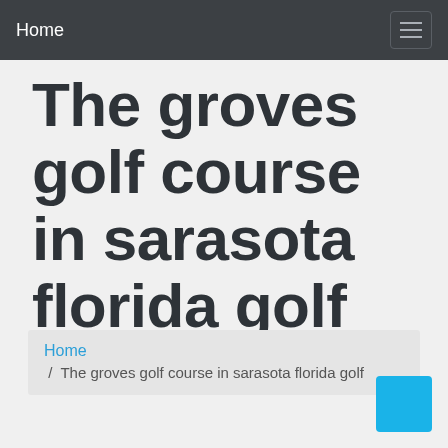Home
The groves golf course in sarasota florida golf
Home / The groves golf course in sarasota florida golf